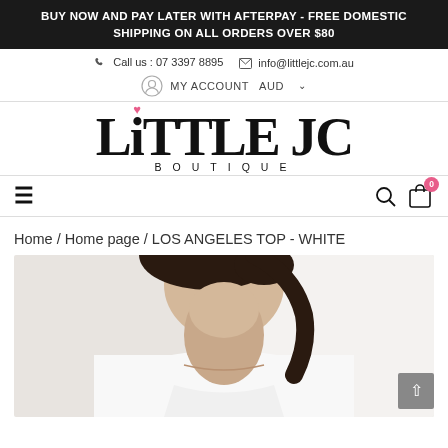BUY NOW AND PAY LATER WITH AFTERPAY - FREE DOMESTIC SHIPPING ON ALL ORDERS OVER $80
Call us : 07 3397 8895  info@littlejc.com.au
MY ACCOUNT  AUD
[Figure (logo): Little JC Boutique logo with pink heart above the 'i' in Little]
≡  🔍  🛒 0
Home / Home page / LOS ANGELES TOP - WHITE
[Figure (photo): Woman wearing a white top, close-up of neck and upper chest area, light background]